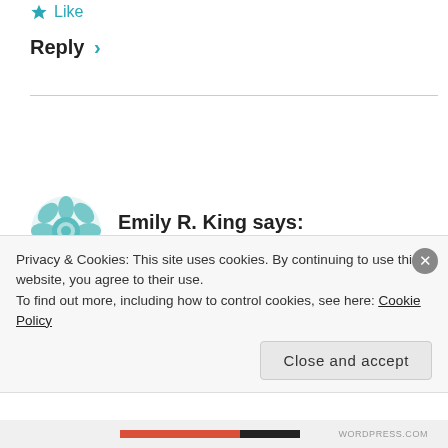★ Like
Reply ›
Emily R. King says:
01/31/12 at 5:24 pm
I have reading my book aloud on my To Do List before I go another round of querying. Reading aloud helps me
Privacy & Cookies: This site uses cookies. By continuing to use this website, you agree to their use.
To find out more, including how to control cookies, see here: Cookie Policy
Close and accept